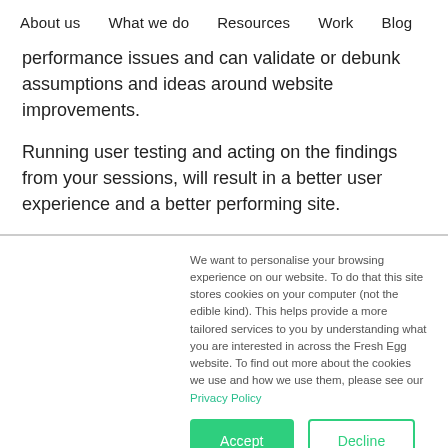About us   What we do   Resources   Work   Blog
performance issues and can validate or debunk assumptions and ideas around website improvements.
Running user testing and acting on the findings from your sessions, will result in a better user experience and a better performing site.
We want to personalise your browsing experience on our website. To do that this site stores cookies on your computer (not the edible kind). This helps provide a more tailored services to you by understanding what you are interested in across the Fresh Egg website. To find out more about the cookies we use and how we use them, please see our Privacy Policy